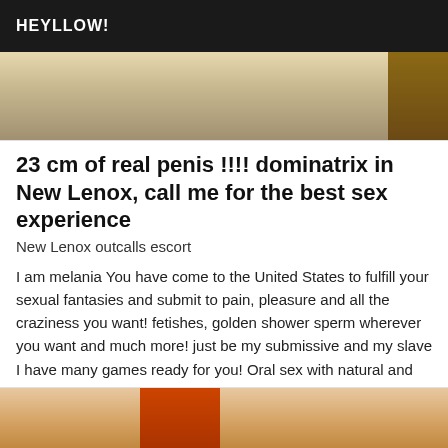HEYLLOW!
[Figure (photo): Partial photo showing clothing, blurred background, two-tone coloring]
23 cm of real penis !!!! dominatrix in New Lenox, call me for the best sex experience
New Lenox outcalls escort
I am melania You have come to the United States to fulfill your sexual fantasies and submit to pain, pleasure and all the craziness you want! fetishes, golden shower sperm wherever you want and much more! just be my submissive and my slave I have many games ready for you! Oral sex with natural and rubber, I give you my sperm wherever you want, 100% original pictures, I am a very cute and sexy tranny I am very well equipped for you 23 cm of real penis
[Figure (photo): Partial photo at bottom of page showing warm-toned clothing]